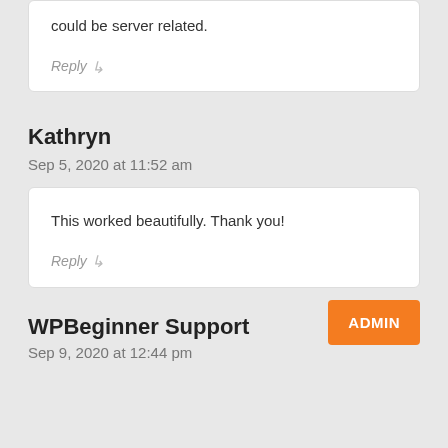could be server related.
Reply
Kathryn
Sep 5, 2020 at 11:52 am
This worked beautifully. Thank you!
Reply
WPBeginner Support
ADMIN
Sep 9, 2020 at 12:44 pm